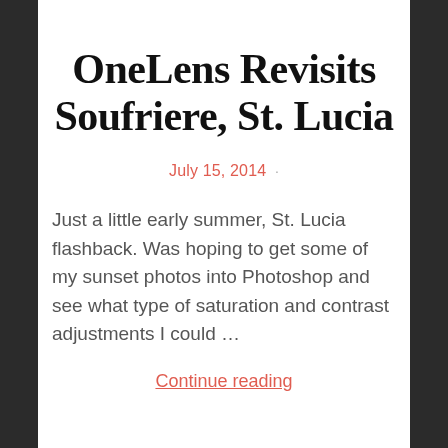OneLens Revisits Soufriere, St. Lucia
July 15, 2014 ·
Just a little early summer, St. Lucia flashback. Was hoping to get some of my sunset photos into Photoshop and see what type of saturation and contrast adjustments I could …
Continue reading